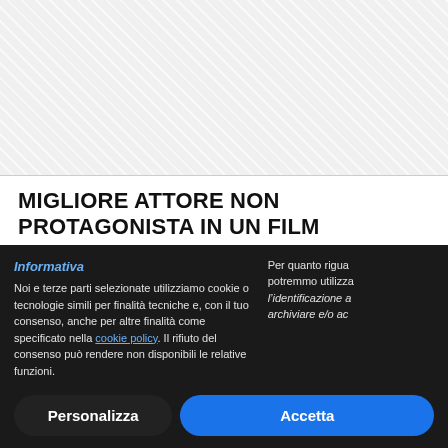[Figure (other): Hatched/diagonal striped gray banner area at top of page]
MIGLIORE ATTORE NON PROTAGONISTA IN UN FILM
Ben Affleck, “The Tender Bar”
Jamie Dornan (“Belfast”)
Ciarán Hinds (“Belfast”)
Troy Kotsur (“CODA”)
Informativa
Noi e terze parti selezionate utilizziamo cookie o tecnologie simili per finalità tecniche e, con il tuo consenso, anche per altre finalità come specificato nella cookie policy. Il rifiuto del consenso può rendere non disponibili le relative funzioni.
Per quanto rigua... potremmo utilizza... l’identificazione a... archiviare e/o ac...
Personalizza
Accetta